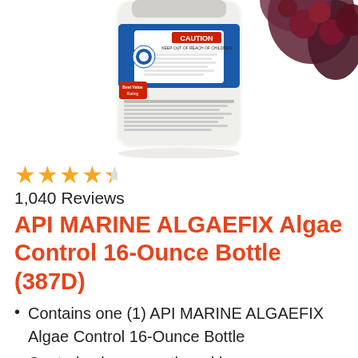[Figure (photo): Partial view of a white bottle with a blue and red label showing 'CAUTION' text and 'KEEP OUT OF REACH OF CHILDREN', partially cropped at the top of the image, with dark berries/flowers visible on the right side.]
★★★★½ 1,040 Reviews
API MARINE ALGAEFIX Algae Control 16-Ounce Bottle (387D)
Contains one (1) API MARINE ALGAEFIX Algae Control 16-Ounce Bottle
Controls algae growth and keeps